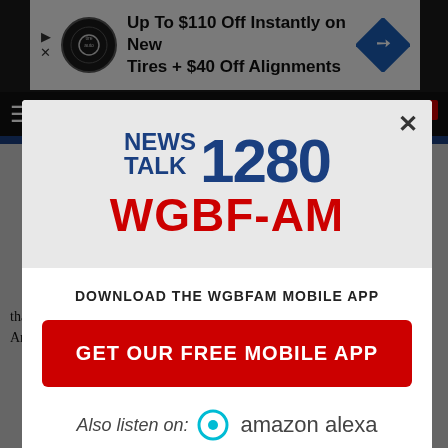[Figure (screenshot): Website background showing navigation bar and body content]
[Figure (screenshot): Advertisement banner: Up To $110 Off Instantly on New Tires + $40 Off Alignments]
[Figure (screenshot): Modal popup for WGBF-AM NewsTalk 1280 mobile app download with Amazon Alexa integration]
DOWNLOAD THE WGBFAM MOBILE APP
GET OUR FREE MOBILE APP
Also listen on:  amazon alexa
that pop up in my mind include Bluegrass Fish and Wildlife Area a... ...hat
[Figure (screenshot): Bottom advertisement banner: Up To $110 Off Instantly on New Tires + $40 Off Alignments]